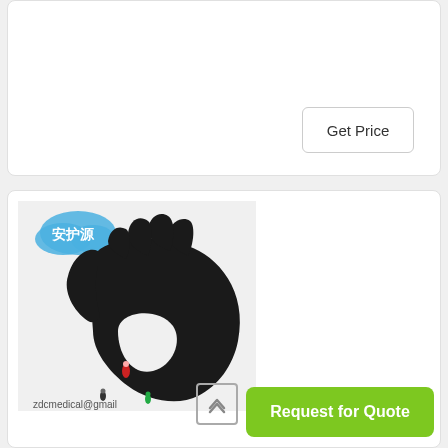[Figure (other): Top product card with Get Price button, light gray background area]
Get Price
[Figure (photo): Black nitrile examination glove on white/gray background with Chinese brand logo and small figurines; watermark zdcmedical@gmail]
Request for Quote